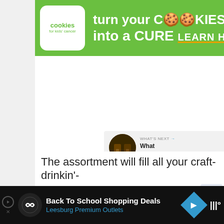[Figure (screenshot): Green banner advertisement for 'Cookies for Kids Cancer' with text 'turn your COOKIES into a CURE LEARN HOW']
[Figure (screenshot): White blank content area with heart and share floating action buttons on the right side]
[Figure (screenshot): What's Next panel showing a thumbnail and text 'What Grandma...']
The assortment will fill all your craft-drinkin'-
[Figure (screenshot): Bottom black advertisement banner for 'Back To School Shopping Deals - Leesburg Premium Outlets' with blue diamond arrow icon]